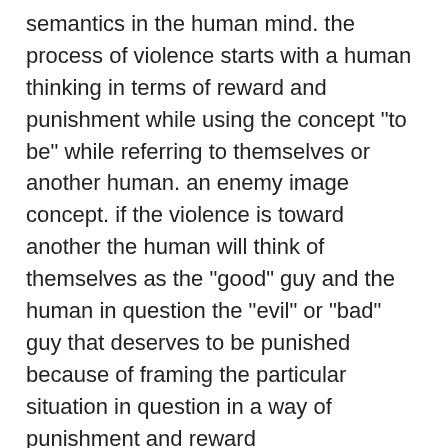semantics in the human mind. the process of violence starts with a human thinking in terms of reward and punishment while using the concept "to be" while referring to themselves or another human. an enemy image concept. if the violence is toward another the human will think of themselves as the "good" guy and the human in question the "evil" or "bad" guy that deserves to be punished because of framing the particular situation in question in a way of punishment and reward
using semantics in the human thought process. once the thoughts continue on, the human feels a direct emotion response of the thought itself , not the situation itself. as the continuation of thoughts in an enemy image concept progress , the actions of the one thinking will feel direct emotion from their thoughts and their actions will be formed from the emotion (physical ,mental psychological or emotional violence),of the thoughts they had. this is